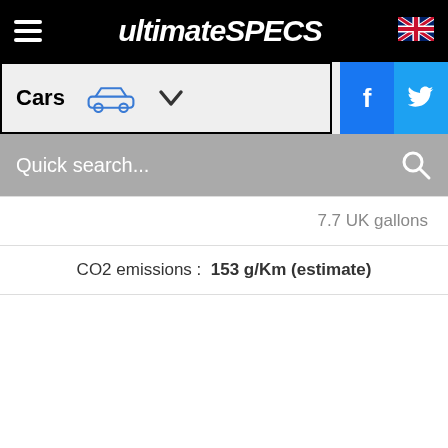ultimateSPECS
Cars
Quick search...
7.7 UK gallons
CO2 emissions : 153 g/Km (estimate)